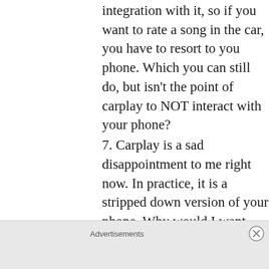integration with it, so if you want to rate a song in the car, you have to resort to you phone. Which you can still do, but isn't the point of carplay to NOT interact with your phone?
7. Carplay is a sad disappointment to me right now. In practice, it is a stripped down version of your phone. Why would I want that? I do want a way to interact with my phone in a simpler and safer way in the car, but Carplay's current solution is to remove support for apps, and restrict the interaction,
Advertisements